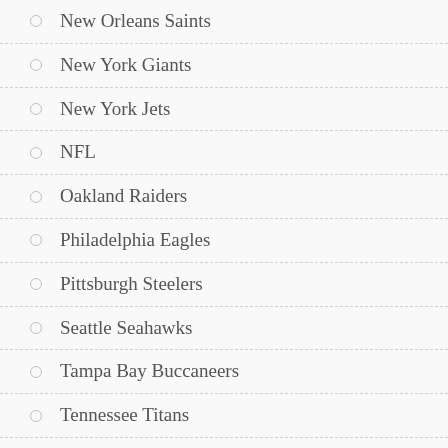New Orleans Saints
New York Giants
New York Jets
NFL
Oakland Raiders
Philadelphia Eagles
Pittsburgh Steelers
Seattle Seahawks
Tampa Bay Buccaneers
Tennessee Titans
Uncategorized